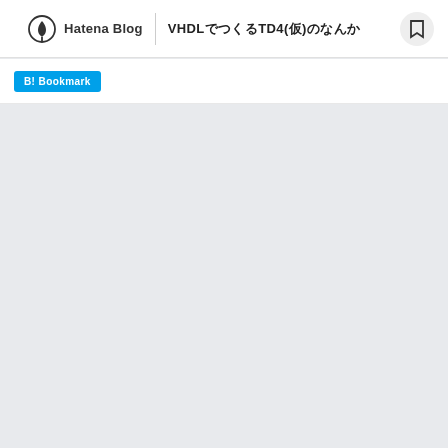Hatena Blog | VHDLでつくるTD4(仮)のなんか
B! Bookmark